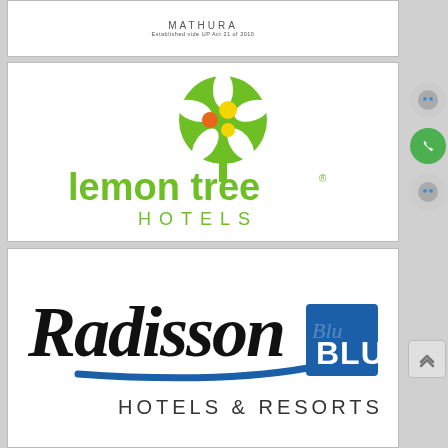[Figure (logo): MATHURA logo with text 'Established vide UP Act 21 of 2010']
[Figure (logo): Lemon Tree Hotels logo — green lemon tree illustration with green text 'lemon tree HOTELS']
[Figure (logo): Radisson Blu Hotels & Resorts logo — black cursive Radisson text with blue BLU square badge and 'HOTELS & RESORTS' text]